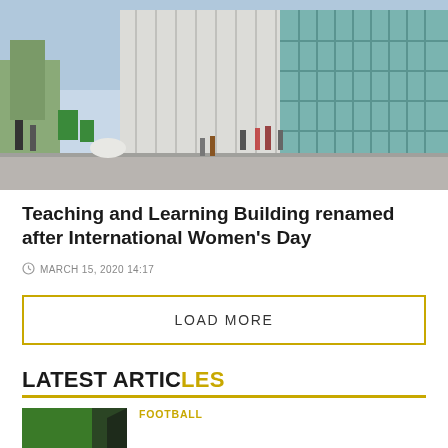[Figure (photo): Exterior photo of a modern university Teaching and Learning Building with large glass facade and students walking outside]
Teaching and Learning Building renamed after International Women's Day
MARCH 15, 2020 14:17
LOAD MORE
LATEST ARTICLES
FOOTBALL